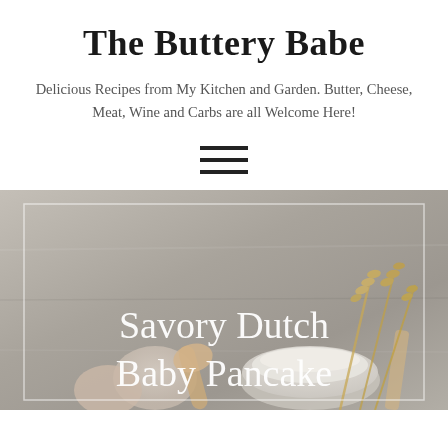The Buttery Babe
Delicious Recipes from My Kitchen and Garden. Butter, Cheese, Meat, Wine and Carbs are all Welcome Here!
[Figure (illustration): Hamburger menu icon with three horizontal lines]
[Figure (photo): Food photography showing baking ingredients on a wooden surface including eggs, flour in a bowl, wheat stalks, and wooden utensils, with a thin white rectangular border overlay and the text 'Savory Dutch Baby Pancake' centered in white serif font]